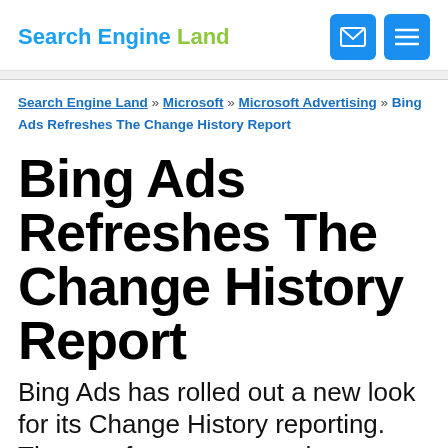Search Engine Land
Search Engine Land » Microsoft » Microsoft Advertising » Bing Ads Refreshes The Change History Report
Bing Ads Refreshes The Change History Report
Bing Ads has rolled out a new look for its Change History reporting. The new format groups changes made by a user at one time, rather than itemizing every change